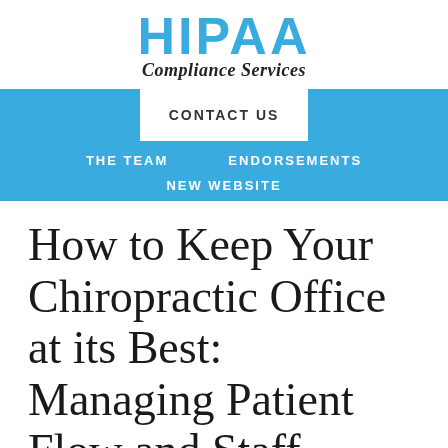HIPAA Compliance Services
CONTACT US
THE TEAM   ENDORSEMENTS   NEW WEBSITE
How to Keep Your Chiropractic Office at its Best: Managing Patient Flow and Staff Morale